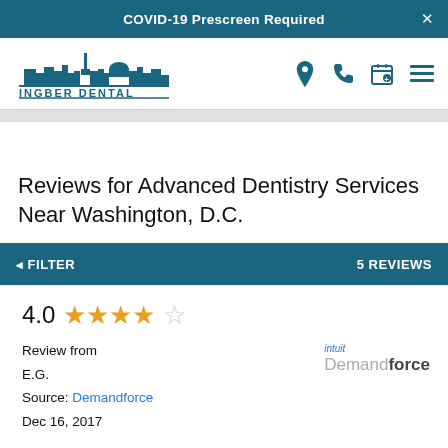COVID-19 Prescreen Required
[Figure (logo): Ingber Dental logo with DC skyline silhouette]
Reviews for Advanced Dentistry Services Near Washington, D.C.
◂ FILTER   5 REVIEWS
4.0 ★★★★☆
Review from
E.G.
Source: Demandforce
Dec 16, 2017
[Figure (logo): intuit Demandforce logo]